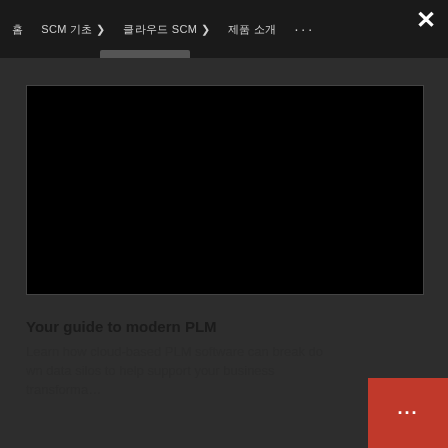홈  SCM 기초 ▾  클라우드 SCM ▾  제품 소개  ···  ✕
[Figure (screenshot): Black video player area, fully black with no content visible]
Your guide to modern PLM
Learn how cloud-based PLM software can break down data silos to help support your business transforma…
[Figure (other): Red chat widget button with three dots in bottom right corner]